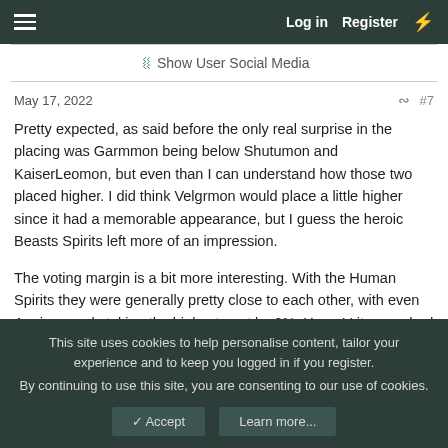Log in  Register
Show User Social Media
May 17, 2022  #7
Pretty expected, as said before the only real surprise in the placing was Garmmon being below Shutumon and KaiserLeomon, but even than I can understand how those two placed higher. I did think Velgrmon would place a little higher since it had a memorable appearance, but I guess the heroic Beasts Spirits left more of an impression.

The voting margin is a bit more interesting. With the Human Spirits they were generally pretty close to each other, with even Agnimon only taking the highest spot by 2%. Here, Vritramon had a clear victory and took the Top spot by 9%, with Shutumon beating the next spot by 6%, and KaiserLeomon by 3%. Vritramon was definitely the fan favorite here while the Top 3 in general hogged a larger share of the votes, it seems
This site uses cookies to help personalise content, tailor your experience and to keep you logged in if you register.
By continuing to use this site, you are consenting to our use of cookies.
Accept  Learn more...